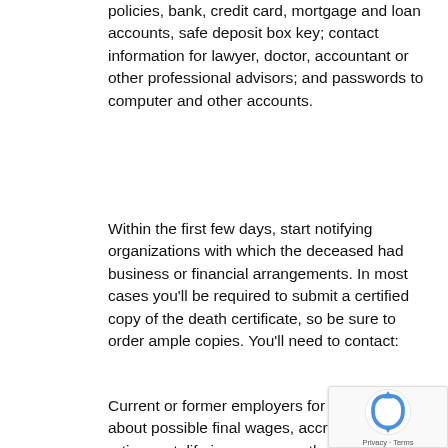policies, bank, credit card, mortgage and loan accounts, safe deposit box key; contact information for lawyer, doctor, accountant or other professional advisors; and passwords to computer and other accounts.
Within the first few days, start notifying organizations with which the deceased had business or financial arrangements. In most cases you'll be required to submit a certified copy of the death certificate, so be sure to order ample copies. You'll need to contact:
Current or former employers for information about possible final wages, accrued vacation, retirement, life insurance or other death benefits. Social Security Administration. If they were receiving Social Security benefits, you'll need to stop payment right away. Funeral homes often do this, but be sure to ask.
Once you've notified Social Security, they will contact Medicare to cancel benefits. However, if they were enrolled